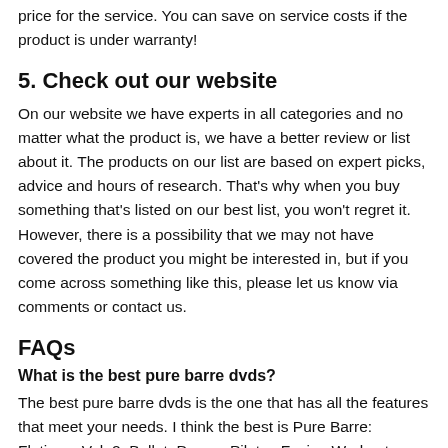price for the service. You can save on service costs if the product is under warranty!
5. Check out our website
On our website we have experts in all categories and no matter what the product is, we have a better review or list about it. The products on our list are based on expert picks, advice and hours of research. That's why when you buy something that's listed on our best list, you won't regret it. However, there is a possibility that we may not have covered the product you might be interested in, but if you come across something like this, please let us know via comments or contact us.
FAQs
What is the best pure barre dvds?
The best pure barre dvds is the one that has all the features that meet your needs. I think the best is Pure Barre: Flatirons Vol. 2: Ballet, Dance, Pilates Fusion Workout